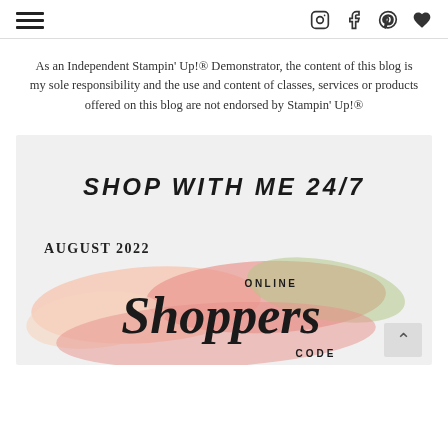Navigation and social icons header
As an Independent Stampin' Up!® Demonstrator, the content of this blog is my sole responsibility and the use and content of classes, services or products offered on this blog are not endorsed by Stampin' Up!®
[Figure (infographic): Shop With Me 24/7 banner with August 2022 Online Shoppers Code watercolor design. Features brush strokes in pink, peach, and green watercolor with SHOP WITH ME 24/7 text and August 2022 Online Shoppers Code below.]